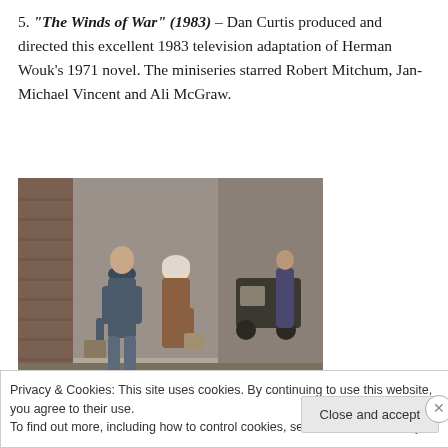5. “The Winds of War” (1983) – Dan Curtis produced and directed this excellent 1983 television adaptation of Herman Wouk’s 1971 novel. The miniseries starred Robert Mitchum, Jan-Michael Vincent and Ali McGraw.
[Figure (photo): Scene from The Winds of War miniseries showing two children running on a street carrying bags, with a vehicle and a person in the background near a brick building.]
Privacy & Cookies: This site uses cookies. By continuing to use this website, you agree to their use.
To find out more, including how to control cookies, see here: Cookie Policy